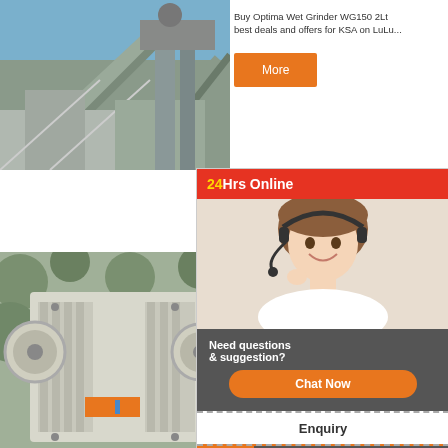[Figure (photo): Industrial mining conveyor and structure machinery against blue sky]
Buy Optima Wet Grinder WG150 2Lt best deals and offers for KSA on LuLu...
[Figure (other): 24Hrs Online chat widget with customer support agent photo, Need questions & suggestion?, Chat Now button, Enquiry section, and limingjlmofen branding]
[Figure (photo): Close-up of jaw crusher machinery with large metal components and orange label]
Wet Grind...3
BUY IT. Smart... SW Speed Blender... 00 Grinder BCG82... ck